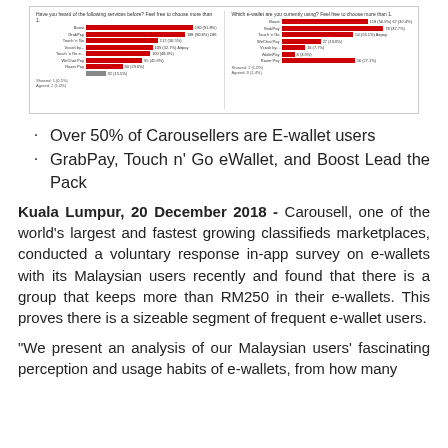[Figure (infographic): Two side-by-side horizontal bar charts about e-wallet awareness and usage among Carousell Malaysian users, with red bars and small labels.]
Over 50% of Carousellers are E-wallet users
GrabPay, Touch n' Go eWallet, and Boost Lead the Pack
Kuala Lumpur, 20 December 2018 - Carousell, one of the world's largest and fastest growing classifieds marketplaces, conducted a voluntary response in-app survey on e-wallets with its Malaysian users recently and found that there is a group that keeps more than RM250 in their e-wallets. This proves there is a sizeable segment of frequent e-wallet users.
“We present an analysis of our Malaysian users’ fascinating perception and usage habits of e-wallets, from how many